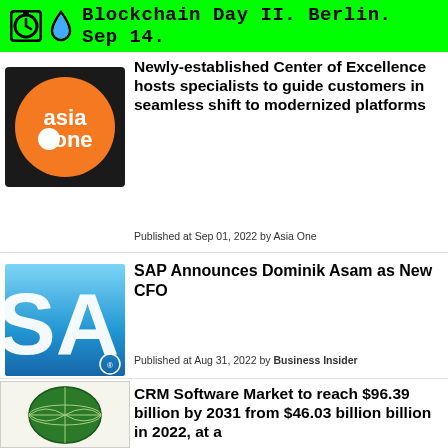Blockchain Day II. Berlin. Sep 14.
Newly-established Center of Excellence hosts specialists to guide customers in seamless shift to modernized platforms
Published at Sep 01, 2022 by Asia One
SAP Announces Dominik Asam as New CFO
Published at Aug 31, 2022 by Business Insider
CRM Software Market to reach $96.39 billion by 2031 from $46.03 billion billion in 2022, at a